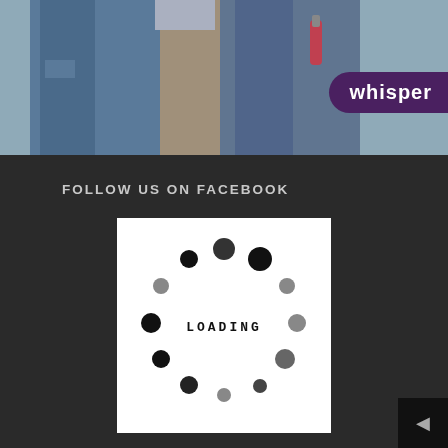[Figure (photo): Two people wearing jeans photographed from waist down, colorful background. A purple rounded badge with 'whisper' text appears in the top right corner.]
FOLLOW US ON FACEBOOK
[Figure (other): White square loading spinner graphic with dots arranged in a circle and 'LOADING' text in center]
CONTACT INFO
Safeguard Design-Build-Remodel
2303 North Grand Ave. East SPRINGFIELD, IL 62702
217-691-9863